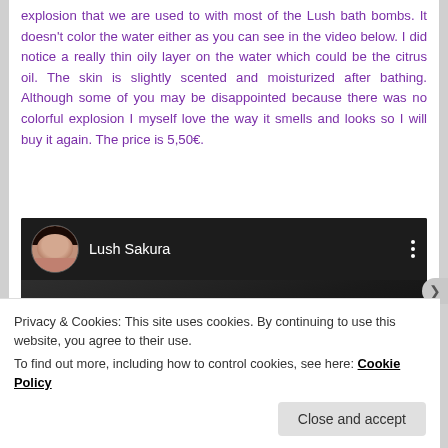explosion that we are used to with most of the Lush bath bombs. It doesn't color the water either as you can see in the video below. I did notice a really thin oily layer on the water which could be the citrus oil. The skin is slightly scented and moisturized after bathing. Although some of you may be disappointed because there was no colorful explosion I myself love the way it smells and looks so I will buy it again. The price is 5,50€.
[Figure (screenshot): Video thumbnail showing a YouTube-style video player with a dark background. The video header shows a circular avatar of a woman with dark hair, followed by the title 'Lush Sakura', and a three-dot menu icon on the right.]
Privacy & Cookies: This site uses cookies. By continuing to use this website, you agree to their use.
To find out more, including how to control cookies, see here: Cookie Policy